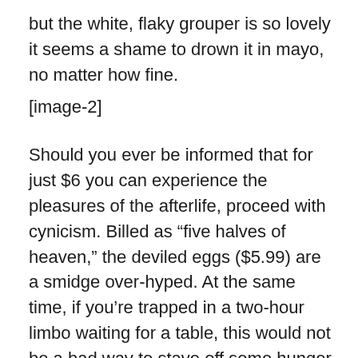but the white, flaky grouper is so lovely it seems a shame to drown it in mayo, no matter how fine.
[image-2]
Should you ever be informed that for just $6 you can experience the pleasures of the afterlife, proceed with cynicism. Billed as “five halves of heaven,” the deviled eggs ($5.99) are a smidge over-hyped. At the same time, if you’re trapped in a two-hour limbo waiting for a table, this would not be a bad way to stave off some hunger pangs. Filled with a traditional mayo-based yolk filling, topped with fresh dill, and served chilled, they’re